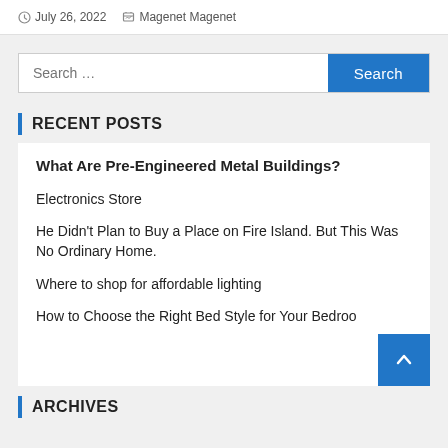July 26, 2022  Magenet Magenet
Search ...
RECENT POSTS
What Are Pre-Engineered Metal Buildings?
Electronics Store
He Didn't Plan to Buy a Place on Fire Island. But This Was No Ordinary Home.
Where to shop for affordable lighting
How to Choose the Right Bed Style for Your Bedroo
ARCHIVES